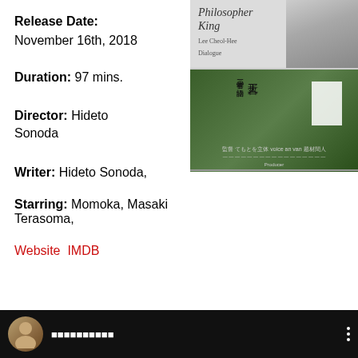Release Date:
November 16th, 2018
[Figure (photo): Japanese movie poster for 'Philosopher King' showing a young woman's face in the upper right, and a green nature scene with Japanese text in the lower half]
Duration: 97 mins.
Director: Hideto Sonoda
Writer: Hideto Sonoda,
Starring: Momoka, Masaki Terasoma,
Website IMDB
[Figure (screenshot): Video thumbnail showing a person and Japanese text characters on a dark/black background with a circular avatar]